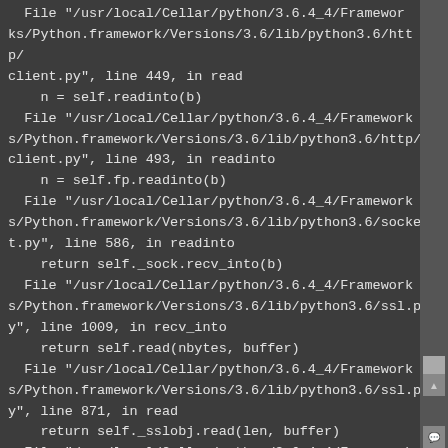File "/usr/local/Cellar/python/3.6.4_4/Frameworks/Python.framework/Versions/3.6/lib/python3.6/http/client.py", line 449, in read
    n = self.readinto(b)
  File "/usr/local/Cellar/python/3.6.4_4/Frameworks/Python.framework/Versions/3.6/lib/python3.6/http/client.py", line 493, in readinto
    n = self.fp.readinto(b)
  File "/usr/local/Cellar/python/3.6.4_4/Frameworks/Python.framework/Versions/3.6/lib/python3.6/socket.py", line 586, in readinto
    return self._sock.recv_into(b)
  File "/usr/local/Cellar/python/3.6.4_4/Frameworks/Python.framework/Versions/3.6/lib/python3.6/ssl.py", line 1009, in recv_into
    return self.read(nbytes, buffer)
  File "/usr/local/Cellar/python/3.6.4_4/Frameworks/Python.framework/Versions/3.6/lib/python3.6/ssl.py", line 871, in read
    return self._sslobj.read(len, buffer)
  File "/usr/local/Cellar/python/3.6.4_4/Frameworks/Python.framework/Versions/3.6/lib/python3.6/ssl.py", line 631, in read